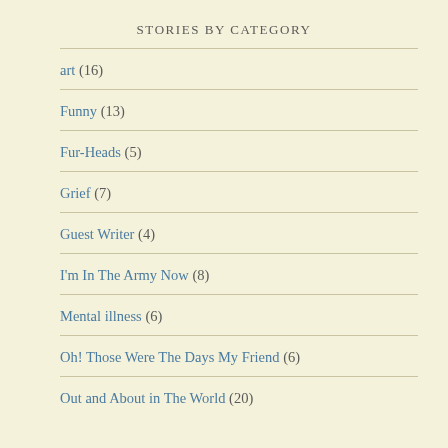STORIES BY CATEGORY
art (16)
Funny (13)
Fur-Heads (5)
Grief (7)
Guest Writer (4)
I'm In The Army Now (8)
Mental illness (6)
Oh! Those Were The Days My Friend (6)
Out and About in The World (20)